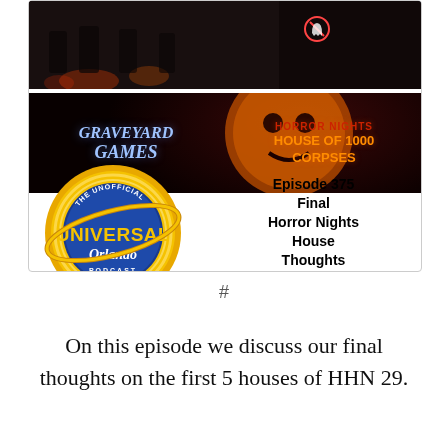[Figure (illustration): Podcast episode thumbnail card with three banner images: top banner shows Ghostbusters themed horror scene with GHOSTBUSTERS logo text; bottom-left banner shows Graveyard Games themed dark fantasy art; bottom-right banner shows House of 1000 Corpses / Horror Nights banner. Left side of lower card area has The Unofficial Universal Orlando Podcast logo (circular gold/blue logo). Right side shows episode title text.]
Episode 375 Final Horror Nights House Thoughts Part 1
#
On this episode we discuss our final thoughts on the first 5 houses of HHN 29.